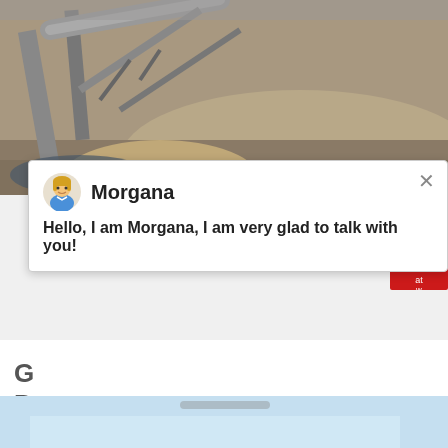[Figure (photo): Outdoor mining operation with conveyor belt structure and large piles of sand/gravel material]
[Figure (screenshot): Chat popup overlay with avatar of Morgana showing message: Hello, I am Morgana, I am very glad to talk with you!]
Gold Bug Park & Mine, Placerville California. 6,284 likes · 7 talking about this · 5,530 were here. A classic Hangtown California Mine!
get price
[Figure (photo): Bottom strip of another photo, partially visible]